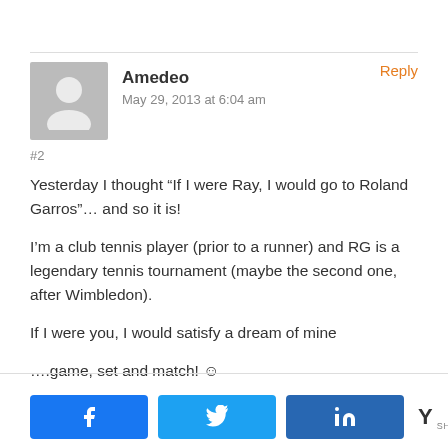Amedeo
May 29, 2013 at 6:04 am
Reply
#2
Yesterday I thought “If I were Ray, I would go to Roland Garros”… and so it is!

I’m a club tennis player (prior to a runner) and RG is a legendary tennis tournament (maybe the second one, after Wimbledon).

If I were you, I would satisfy a dream of mine

….game, set and match! ☺